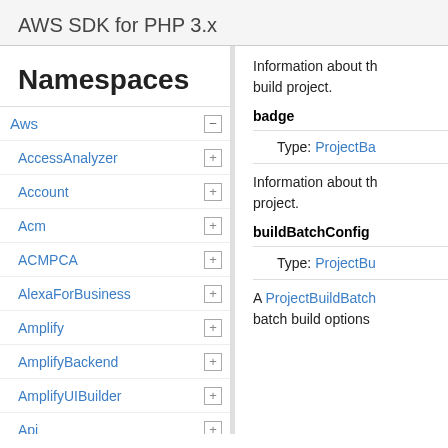AWS SDK for PHP 3.x
Namespaces
Aws
AccessAnalyzer
Account
Acm
ACMPCA
AlexaForBusiness
Amplify
AmplifyBackend
AmplifyUIBuilder
Api
ApiGateway
ApiGatewayManagementApi
Information about the build project.
badge
Type: ProjectBa...
Information about the project.
buildBatchConfig
Type: ProjectBu...
A ProjectBuildBatch... batch build options.